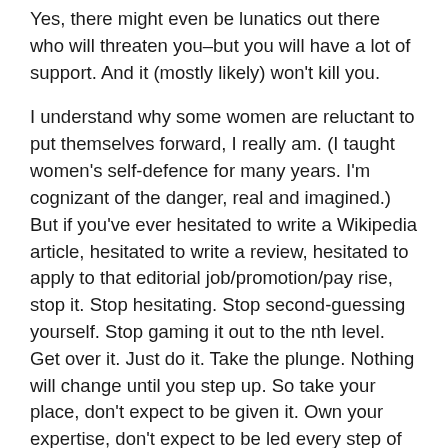Yes, there might even be lunatics out there who will threaten you–but you will have a lot of support. And it (mostly likely) won't kill you.
I understand why some women are reluctant to put themselves forward, I really am. (I taught women's self-defence for many years. I'm cognizant of the danger, real and imagined.) But if you've ever hesitated to write a Wikipedia article, hesitated to write a review, hesitated to apply to that editorial job/promotion/pay rise, stop it. Stop hesitating. Stop second-guessing yourself. Stop gaming it out to the nth level. Get over it. Just do it. Take the plunge. Nothing will change until you step up. So take your place, don't expect to be given it. Own your expertise, don't expect to be led every step of the way. Accept the compliment (or the pay rise, or the promotion or the help) and don't make others work so hard to give it to you.